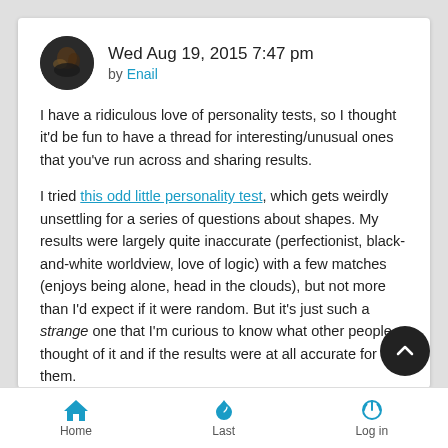Wed Aug 19, 2015 7:47 pm by Enail
I have a ridiculous love of personality tests, so I thought it'd be fun to have a thread for interesting/unusual ones that you've run across and sharing results.
I tried this odd little personality test, which gets weirdly unsettling for a series of questions about shapes. My results were largely quite inaccurate (perfectionist, black-and-white worldview, love of logic) with a few matches (enjoys being alone, head in the clouds), but not more than I'd expect if it were random. But it's just such a strange one that I'm curious to know what other people thought of it and if the results were at all accurate for them.
This one has much more ordinary questions, but I kind of liked
Home  Last  Log in